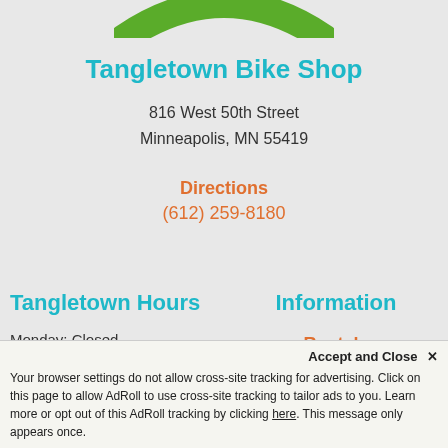[Figure (logo): Partial green arc/logo at the top of the page (Tangletown Bike Shop logo, bottom portion visible)]
Tangletown Bike Shop
816 West 50th Street
Minneapolis, MN 55419
Directions
(612) 259-8180
Tangletown Hours
Information
Monday: Closed
Tues-Thurs: 11AM - 6PM
Rentals
Shop
Fri-Sat: 11AM - 6PM
Accept and Close ✕
Your browser settings do not allow cross-site tracking for advertising. Click on this page to allow AdRoll to use cross-site tracking to tailor ads to you. Learn more or opt out of this AdRoll tracking by clicking here. This message only appears once.